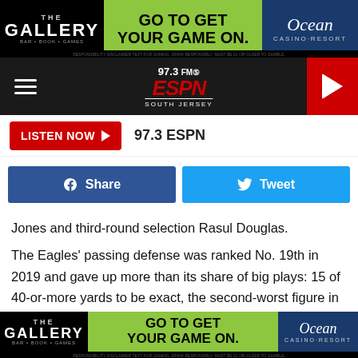[Figure (other): The Gallery bar advertisement banner with Ocean Casino Resort — GO TO GET YOUR GAME ON.]
[Figure (logo): 97.3 FM ESPN South Jersey radio station logo in navigation bar with hamburger menu and red play button]
LISTEN NOW  97.3 ESPN
Share  Tweet
Jones and third-round selection Rasul Douglas.
The Eagles' passing defense was ranked No. 19th in 2019 and gave up more than its share of big plays: 15 of 40-or-more yards to be exact, the second-worst figure in the league. With or without Undlin, significant change could be coming on the outside with both Mills and Ronald Darby set
[Figure (other): The Gallery bar advertisement banner with Ocean Casino Resort — GO TO GET YOUR GAME ON. (bottom)]